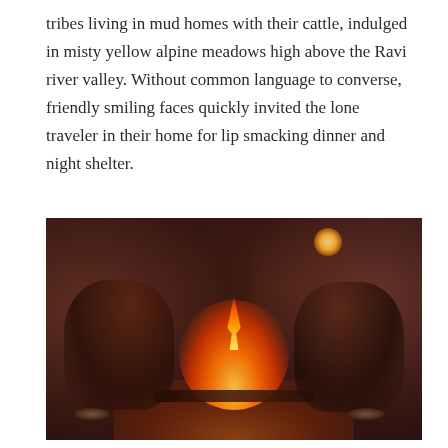tribes living in mud homes with their cattle, indulged in misty yellow alpine meadows high above the Ravi river valley. Without common language to converse, friendly smiling faces quickly invited the lone traveler in their home for lip smacking dinner and night shelter.
[Figure (photo): Two tribal people sitting around a campfire inside a dark mud/cave dwelling. The fire is the main light source. A small oil lamp glows in the upper right background. Cooking vessels and food bowls are visible on the floor. The scene is warm-toned with deep reds and browns.]